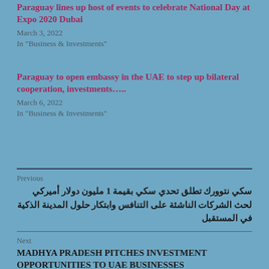Paraguay lines up host of events to celebrate National Day at Expo 2020 Dubai
March 3, 2022
In "Business & Investments"
Paraguay to open embassy in the UAE to step up bilateral cooperation, investments…..
March 6, 2022
In "Business & Investments"
Previous
سكي نتوورك تطلق تحدي سكي بقيمة 1 مليون دولار أميركي لحث الشركات الناشئة على التنافس وابتكار حلول المدينة الذكية في المستقبل
Next
MADHYA PRADESH PITCHES INVESTMENT OPPORTUNITIES TO UAE BUSINESSES